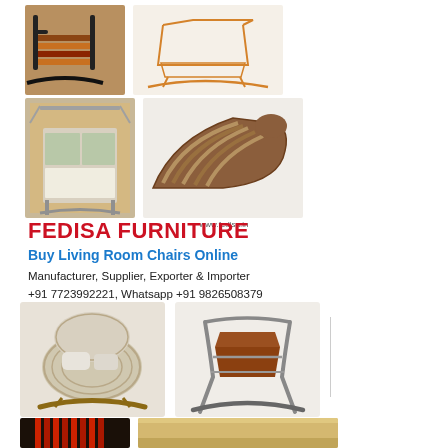[Figure (photo): Grid of furniture product photos: rocking chairs, lounge chair, storage unit, and chaise lounge. URL www.fedisa.in shown below.]
FEDISA FURNITURE
Buy Living Room Chairs Online
Manufacturer, Supplier, Exporter & Importer
+91 7723992221, Whatsapp +91 9826508379
[Figure (photo): Two rocking chair product photos side by side]
[Figure (photo): Two more chair product photos partially visible at bottom]